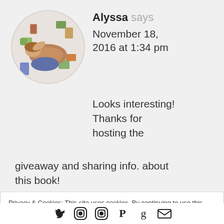[Figure (photo): Circular avatar photo of a woman lying on the floor surrounded by books]
Alyssa says
November 18, 2016 at 1:34 pm
Looks interesting! Thanks for hosting the giveaway and sharing info. about this book!
Privacy & Cookies: This site uses cookies. By continuing to use this website, you agree to their use.
To find out more, including how to control cookies, see here: Cookie Policy
Close and accept
[Figure (illustration): Social media icons: Twitter, Facebook, Instagram, Pinterest, Goodreads, Email]